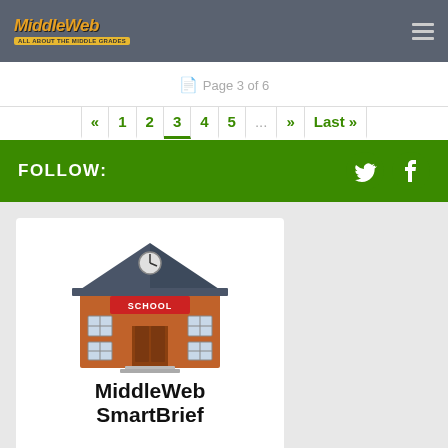MiddleWeb logo and navigation menu
Page 3 of 6
« 1 2 3 4 5 ... » Last »
FOLLOW:
[Figure (illustration): Cartoon school building illustration with red brick, gray roof, clock at top, and SCHOOL sign above a brown arched door]
MiddleWeb SmartBrief